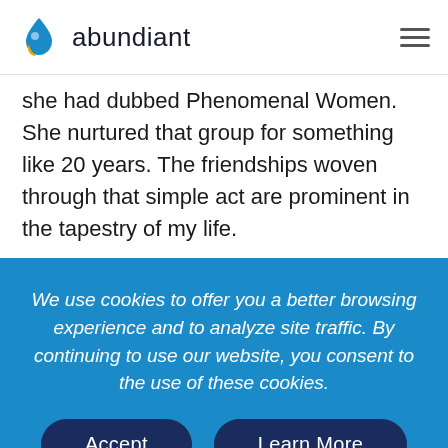abundiant
she had dubbed Phenomenal Women. She nurtured that group for something like 20 years. The friendships woven through that simple act are prominent in the tapestry of my life.
We use cookies to offer you a better browsing experience and to analyze site traffic. By continuing to use our website, you consent to the use of these cookies.
Accept   Learn More